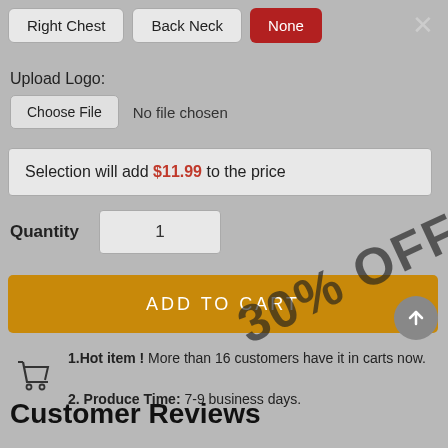Right Chest | Back Neck | None
Upload Logo:
Choose File  No file chosen
Selection will add $11.99 to the price
Quantity  1
ADD TO CART
[Figure (other): 30% OFF watermark overlaid diagonally on the add to cart button area]
1.Hot item ! More than 16 customers have it in carts now.
2. Produce Time: 7-9 business days.
Customer Reviews
Based on 0 reviews